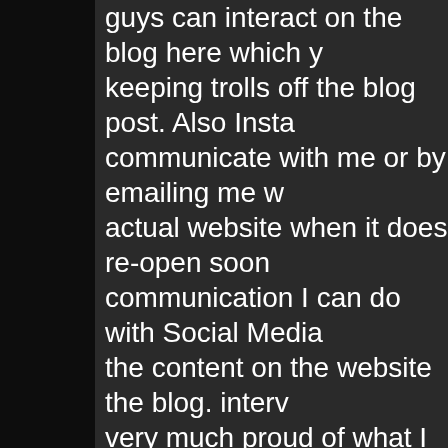guys can interact on the blog here which y keeping trolls off the blog post. Also Insta communicate with me or by emailing me w actual website when it does re-open soon communication I can do with Social Media the content on the website the blog. interv very much proud of what I have done to th it looks better then before. The Interviews way it looks now, it is more sleeker and I g will see when I open the site tomorrow for guys get to see what I did to change the w opening @ 10 am EST Thursday and will r put it back into maintenance mode. The R Monday, August 20th, 2018, 12 days earlie